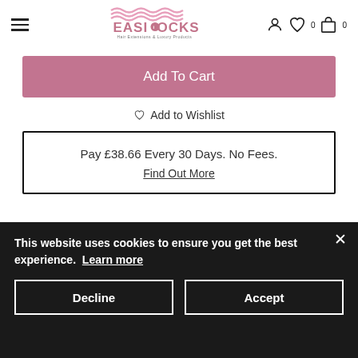Easilocks — Hair Extensions & Luxury Products
Add To Cart
♡ Add to Wishlist
Pay £38.66 Every 30 Days. No Fees.
Find Out More
Hair in need of a boost? We've got you covered...
This website uses cookies to ensure you get the best experience. Learn more
Decline
Accept